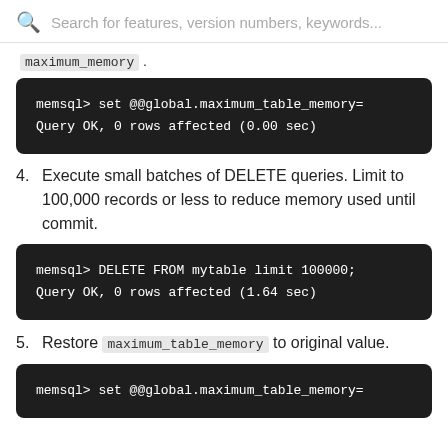Search for features, version numbers, keywords...
maximum_memory .
[Figure (screenshot): Dark code block showing: memsql> set @@global.maximum_table_memory= / Query OK, 0 rows affected (0.00 sec)]
4. Execute small batches of DELETE queries. Limit to 100,000 records or less to reduce memory used until commit.
[Figure (screenshot): Dark code block showing: memsql> DELETE FROM mytable limit 100000; / Query OK, 0 rows affected (1.64 sec)]
5. Restore maximum_table_memory to original value.
[Figure (screenshot): Dark code block showing: memsql> set @@global.maximum_table_memory=]